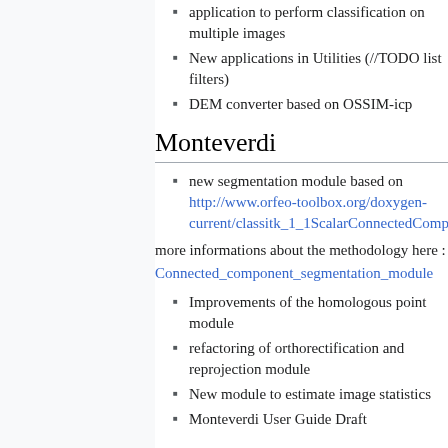application to perform classification on multiple images
New applications in Utilities (//TODO list filters)
DEM converter based on OSSIM-icp
Monteverdi
new segmentation module based on http://www.orfeo-toolbox.org/doxygen-current/classitk_1_1ScalarConnectedComponent...
more informations about the methodology here :
Connected_component_segmentation_module
Improvements of the homologous point module
refactoring of orthorectification and reprojection module
New module to estimate image statistics
Monteverdi User Guide Draft
OTB-Wrapping